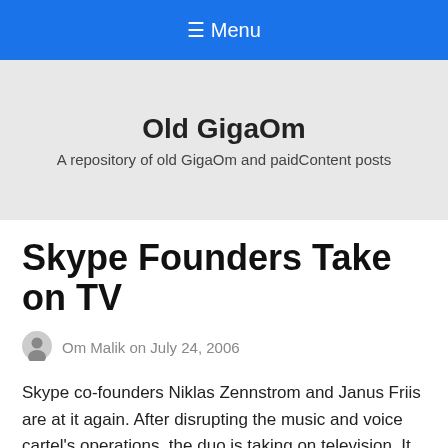☰ Menu
Old GigaOm
A repository of old GigaOm and paidContent posts
Skype Founders Take on TV
Om Malik on July 24, 2006
Skype co-founders Niklas Zennstrom and Janus Friis are at it again. After disrupting the music and voice cartel's operations, the duo is taking on television. It shouldn't come as a surprise. I had reported on that as part of the